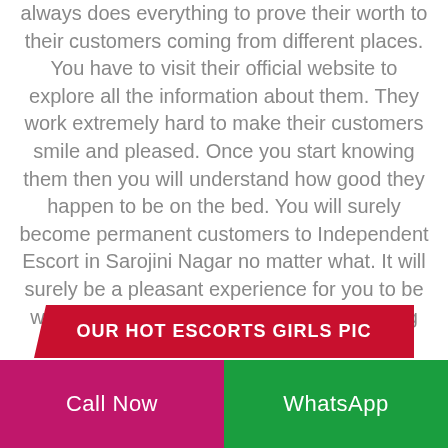always does everything to prove their worth to their customers coming from different places. You have to visit their official website to explore all the information about them. They work extremely hard to make their customers smile and pleased. Once you start knowing them then you will understand how good they happen to be on the bed. You will surely become permanent customers to Independent Escort in Sarojini Nagar no matter what. It will surely be a pleasant experience for you to be with these call girls. They never do anything that might disappoint you in any manner.
[Figure (other): Red button with white bold text: OUR HOT ESCORTS GIRLS PIC, with a diagonal cut on the left edge]
Call Now | WhatsApp